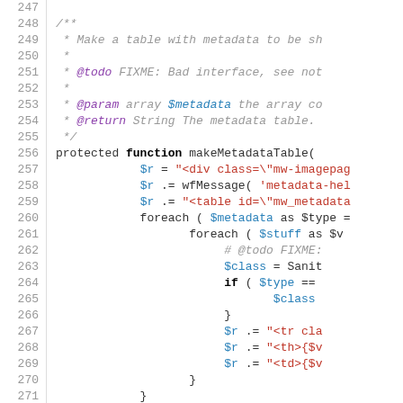[Figure (screenshot): Source code listing showing PHP code for a makeMetadataTable function, with line numbers 247-276 visible. The code includes a docblock comment and function body with string concatenation operations.]